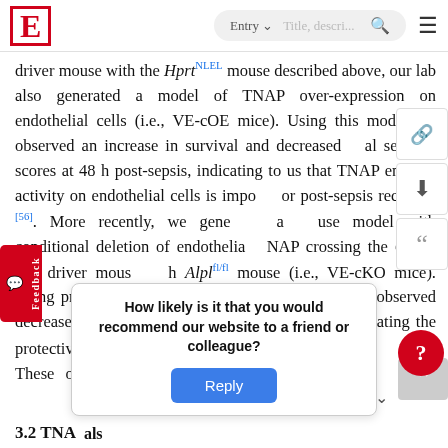E | Entry | [search bar] | [menu]
driver mouse with the Hprt^NLEL mouse described above, our lab also generated a model of TNAP over-expression on endothelial cells (i.e., VE-cOE mice). Using this model, we observed an increase in survival and decreased clinical severity scores at 48 h post-sepsis, indicating to us that TNAP enzyme activity on endothelial cells is important for post-sepsis recovery [56]. More recently, we generated a mouse model with conditional deletion of endothelial TNAP by crossing the Cdh5-Cre driver mouse with the Alpl^fl/fl mouse (i.e., VE-cKO mice). Using primary BMEC cultures from VE-cKO mice, we observed decreased barrier integrity [fl/fl], indicating the protective [fl/fl] 3. These ob[servations suggest] important
How likely is it that you would recommend our website to a friend or colleague?
Reply
3.2 TNAP ... als